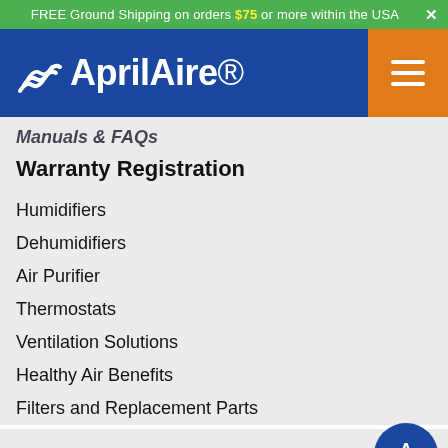FREE Ground Shipping on orders $75 or more within the USA ×
[Figure (logo): AprilAire logo in white on blue background with hamburger menu button on orange background]
Manuals & FAQs
Warranty Registration
Humidifiers
Dehumidifiers
Air Purifier
Thermostats
Ventilation Solutions
Healthy Air Benefits
Filters and Replacement Parts
[Figure (logo): AprilAire Partners logo with chat button circle]